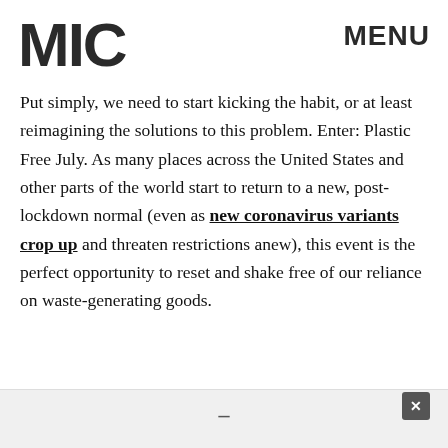MIC  MENU
Put simply, we need to start kicking the habit, or at least reimagining the solutions to this problem. Enter: Plastic Free July. As many places across the United States and other parts of the world start to return to a new, post-lockdown normal (even as new coronavirus variants crop up and threaten restrictions anew), this event is the perfect opportunity to reset and shake free of our reliance on waste-generating goods.